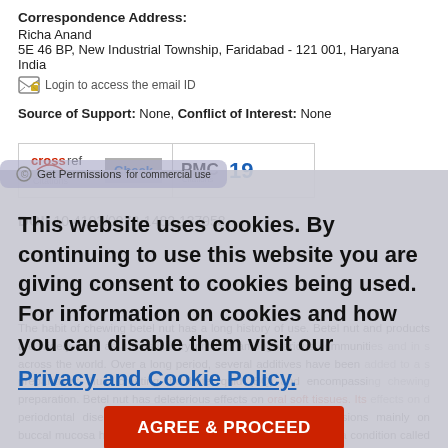Correspondence Address:
Richa Anand
5E 46 BP, New Industrial Township, Faridabad - 121 001, Haryana
India
[icon] Login to access the email ID
Source of Support: None, Conflict of Interest: None
[Figure (other): Crossref Citations Check button and PMC Citations count (19) widget]
DOI: 10.4103/0973-1482.137958
This website uses cookies. By continuing to use this website you are giving consent to cookies being used. For information on cookies and how you can disable them visit our Privacy and Cookie Policy.
AGREE & PROCEED
The habit of chewing betel nut has a long history of use. Betel nut and products are widely used as a masticatory product among various communities and in s across the world. Over a long period, several additives have been added to a s preparation; thus, creating the betel quid (BQ) and encompassing chewing preparation. Betel nut has deleterious effects on oral soft tissues. Its effects on d periodontal disease are less well-documented. Betel-in lesions mainly on buccal mucosa have been reported at quid retained sites. In c a condition called betel chewers mucosa is often found where the quid is pl chewing is implicated in oral submucous fibrosis (OSF) and its use along